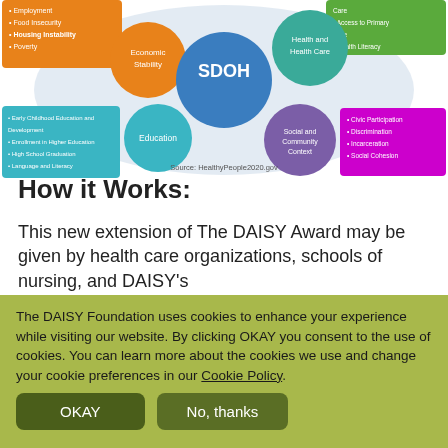[Figure (infographic): SDOH (Social Determinants of Health) circular diagram showing interconnected circles labeled: SDOH (center, blue), Economic Stability (orange), Health and Health Care (teal), Education (teal), Social and Community Context (purple). Colored boxes around the circles list related factors such as Employment, Food Insecurity, Housing Instability, Poverty (orange box); Access to Primary Care, Health Literacy (green box); Early Childhood Education and Development, Enrollment in Higher Education, High School Graduation, Language and Literacy (teal box); Civic Participation, Discrimination, Incarceration, Social Cohesion (purple box). Source: HealthyPeople2020.gov]
Source: HealthyPeople2020.gov
How it Works:
This new extension of The DAISY Award may be given by health care organizations, schools of nursing, and DAISY's
The DAISY Foundation uses cookies to enhance your experience while visiting our website. By clicking OKAY you consent to the use of cookies. You can learn more about the cookies we use and change your cookie preferences in our Cookie Policy.